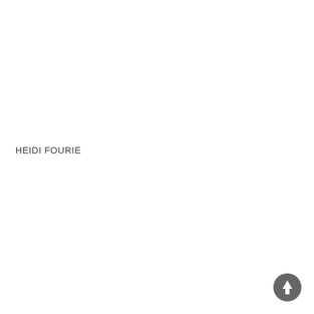HEIDI FOURIE
[Figure (other): A circular dark gray button with a white upward-pointing arrow icon, positioned in the bottom-right corner of the page.]